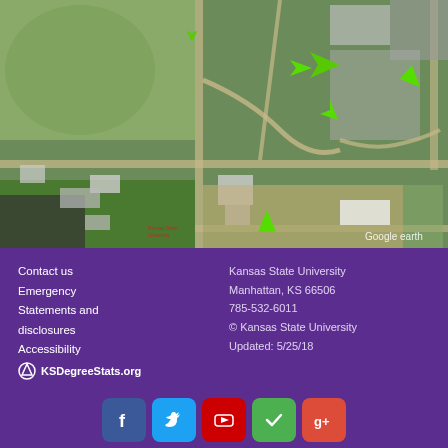[Figure (map): Aerial satellite map (Google Earth) of Kansas State University campus area showing green directional arrows indicating a route through campus roads and buildings.]
Contact us
Emergency
Statements and disclosures
Accessibility
KSDegreeStats.org
Kansas State University
Manhattan, KS 66506
785-532-6011
© Kansas State University
Updated: 5/25/18
[Figure (infographic): Row of five social media icons: Facebook (blue), Twitter (light blue), YouTube (red), Foursquare (green), Google+ (red).]